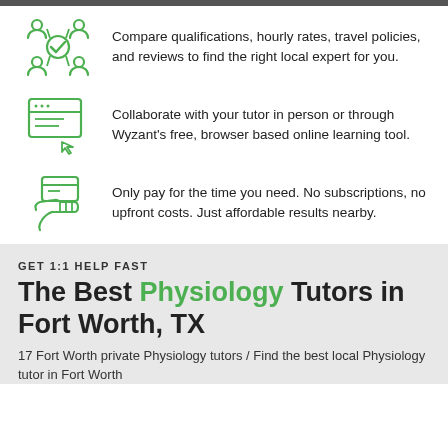[Figure (illustration): Green icon of group of people with checkmark, representing comparing qualifications]
Compare qualifications, hourly rates, travel policies, and reviews to find the right local expert for you.
[Figure (illustration): Green icon of browser/computer screen with cursor, representing online learning tool]
Collaborate with your tutor in person or through Wyzant's free, browser based online learning tool.
[Figure (illustration): Green icon of hand holding a card/payment, representing affordable pay-as-you-go]
Only pay for the time you need. No subscriptions, no upfront costs. Just affordable results nearby.
GET 1:1 HELP FAST
The Best Physiology Tutors in Fort Worth, TX
17 Fort Worth private Physiology tutors / Find the best local Physiology tutor in Fort Worth